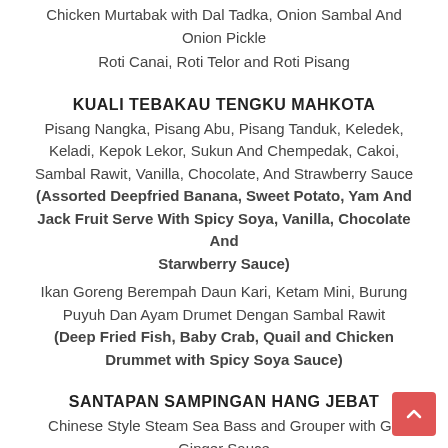Chicken Murtabak with Dal Tadka, Onion Sambal And Onion Pickle
Roti Canai, Roti Telor and Roti Pisang
KUALI TEBAKAU TENGKU MAHKOTA
Pisang Nangka, Pisang Abu, Pisang Tanduk, Keledek, Keladi, Kepok Lekor, Sukun And Chempedak, Cakoi, Sambal Rawit, Vanilla, Chocolate, And Strawberry Sauce (Assorted Deepfried Banana, Sweet Potato, Yam And Jack Fruit Serve With Spicy Soya, Vanilla, Chocolate And Starwberry Sauce)
Ikan Goreng Berempah Daun Kari, Ketam Mini, Burung Puyuh Dan Ayam Drumet Dengan Sambal Rawit (Deep Fried Fish, Baby Crab, Quail and Chicken Drummet with Spicy Soya Sauce)
SANTAPAN SAMPINGAN HANG JEBAT
Chinese Style Steam Sea Bass and Grouper with Ga... Ginger Sauce